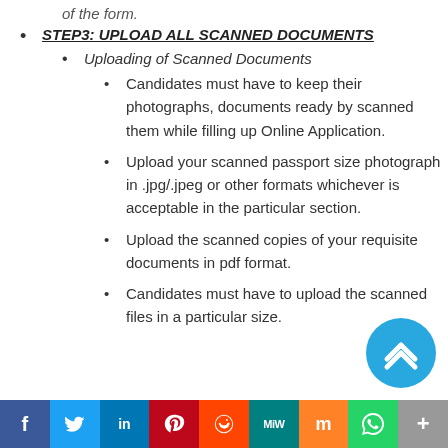of the form.
STEP3: UPLOAD ALL SCANNED DOCUMENTS
Uploading of Scanned Documents
Candidates must have to keep their photographs, documents ready by scanned them while filling up Online Application.
Upload your scanned passport size photograph in .jpg/.jpeg or other formats whichever is acceptable in the particular section.
Upload the scanned copies of your requisite documents in pdf format.
Candidates must have to upload the scanned files in a particular size.